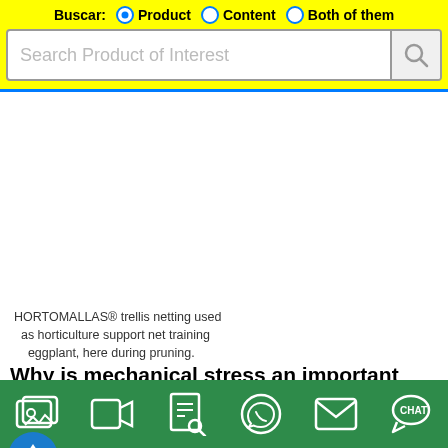[Figure (screenshot): Yellow search bar UI with radio buttons for 'Product', 'Content', 'Both of them' and a text input 'Search Product of Interest' with a search icon button]
HORTOMALLAS® trellis netting used as horticulture support net training eggplant, here during pruning.
Why is mechanical stress an important factor when trellising plants?
By introducing trellis net as a vegetable support system will reduce the handling of plants otherwise necessary during the manual tutoring using a
[Figure (other): Green footer navigation bar with icons: gallery, video, document search, WhatsApp, email, chat]